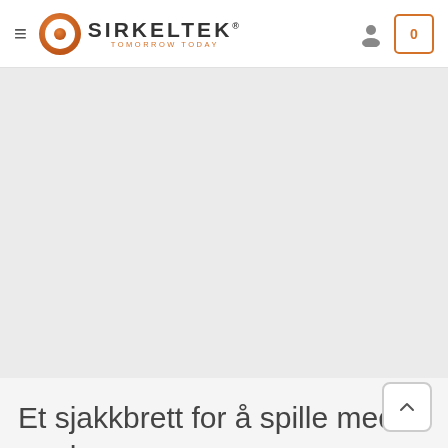SIRKELTEK — TOMORROW TODAY navigation header with hamburger menu, logo, user icon, and cart (0)
[Figure (screenshot): Large blank grey area (product image placeholder)]
Et sjakkbrett for å spille med verden